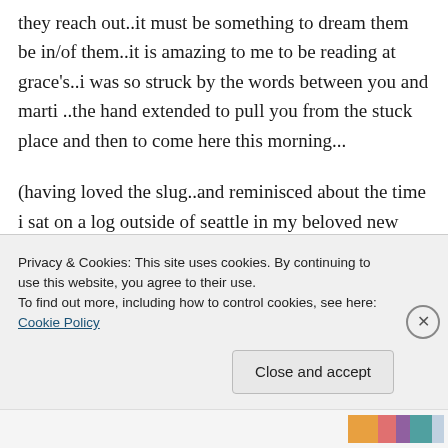they reach out..it must be something to dream them be in/of them..it is amazing to me to be reading at grace's..i was so struck by the words between you and marti ..the hand extended to pull you from the stuck place and then to come here this morning...

(having loved the slug..and reminisced about the time i sat on a log outside of seattle in my beloved new amazing ly pale blue rain coat onto an equally large and very yellow banana
Privacy & Cookies: This site uses cookies. By continuing to use this website, you agree to their use.
To find out more, including how to control cookies, see here: Cookie Policy